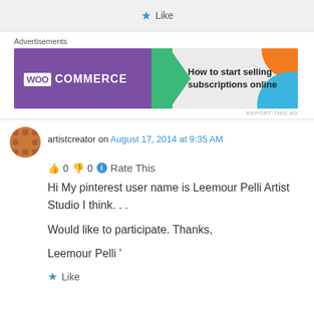Like
Advertisements
[Figure (screenshot): WooCommerce advertisement banner: purple background with WooCommerce logo, green arrow, and text 'How to start selling subscriptions online' on light background with orange and blue decorative blobs]
REPORT THIS AD
artistcreator on August 17, 2014 at 9:35 AM
👍 0 👎 0 ℹ Rate This
Hi My pinterest user name is Leemour Pelli Artist Studio I think. . .

Would like to participate. Thanks,

Leemour Pelli '
Like